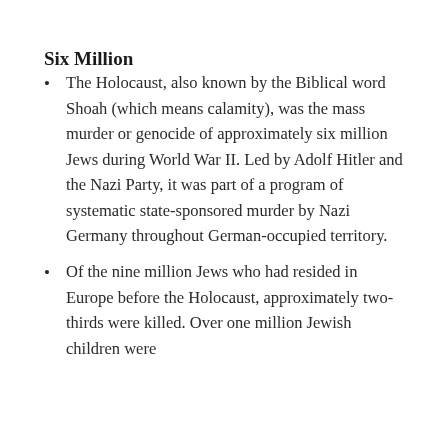Six Million
The Holocaust, also known by the Biblical word Shoah (which means calamity), was the mass murder or genocide of approximately six million Jews during World War II. Led by Adolf Hitler and the Nazi Party, it was part of a program of systematic state-sponsored murder by Nazi Germany throughout German-occupied territory.
Of the nine million Jews who had resided in Europe before the Holocaust, approximately two-thirds were killed. Over one million Jewish children were